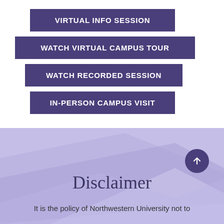VIRTUAL INFO SESSION
WATCH VIRTUAL CAMPUS TOUR
WATCH RECORDED SESSION
IN-PERSON CAMPUS VISIT
Disclaimer
It is the policy of Northwestern University not to